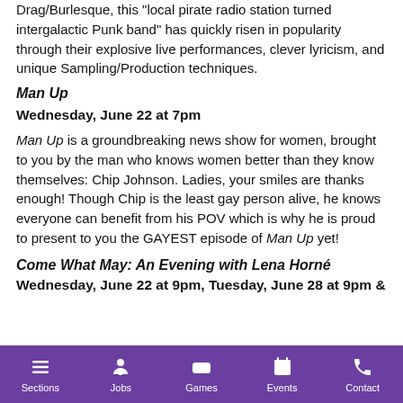Drag/Burlesque, this "local pirate radio station turned intergalactic Punk band" has quickly risen in popularity through their explosive live performances, clever lyricism, and unique Sampling/Production techniques.
Man Up
Wednesday, June 22 at 7pm
Man Up is a groundbreaking news show for women, brought to you by the man who knows women better than they know themselves: Chip Johnson. Ladies, your smiles are thanks enough! Though Chip is the least gay person alive, he knows everyone can benefit from his POV which is why he is proud to present to you the GAYEST episode of Man Up yet!
Come What May: An Evening with Lena Horné
Wednesday, June 22 at 9pm, Tuesday, June 28 at 9pm &
Sections  Jobs  Games  Events  Contact